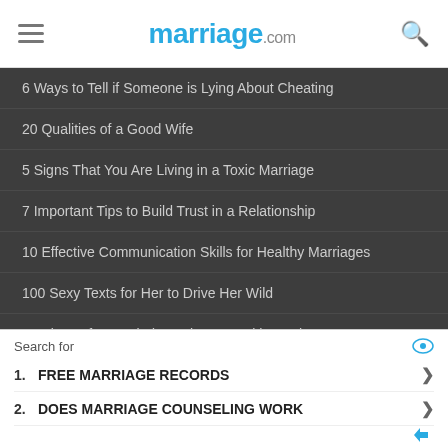marriage.com
6 Ways to Tell if Someone is Lying About Cheating
20 Qualities of a Good Wife
5 Signs That You Are Living in a Toxic Marriage
7 Important Tips to Build Trust in a Relationship
10 Effective Communication Skills for Healthy Marriages
100 Sexy Texts for Her to Drive Her Wild
20 Signs of a Married Man in Love With Another Woman
Search for
1. FREE MARRIAGE RECORDS
2. DOES MARRIAGE COUNSELING WORK